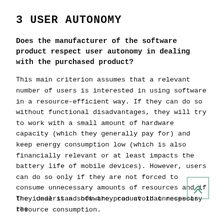3 USER AUTONOMY
Does the manufacturer of the software product respect user autonomy in dealing with the purchased product?
This main criterion assumes that a relevant number of users is interested in using software in a resource-efficient way. If they can do so without functional disadvantages, they will try to work with a small amount of hardware capacity (which they generally pay for) and keep energy consumption low (which is also financially relevant or at least impacts the battery life of mobile devices). However, users can do so only if they are not forced to consume unnecessary amounts of resources and if they understand how they can avoid unnecessary resource consumption.
The ideal is a software product that respects the